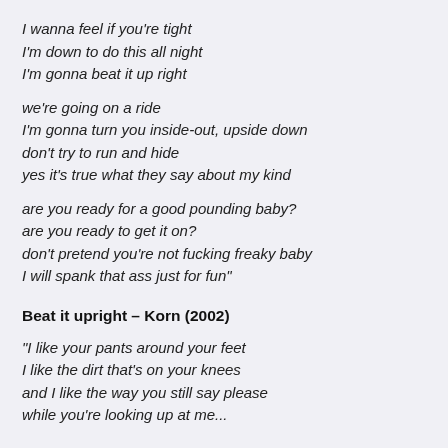I wanna feel if you're tight
I'm down to do this all night
I'm gonna beat it up right
we're going on a ride
I'm gonna turn you inside-out, upside down
don't try to run and hide
yes it's true what they say about my kind
are you ready for a good pounding baby?
are you ready to get it on?
don't pretend you're not fucking freaky baby
I will spank that ass just for fun"
Beat it upright – Korn (2002)
"I like your pants around your feet
I like the dirt that's on your knees
and I like the way you still say please
while you're looking up at me...